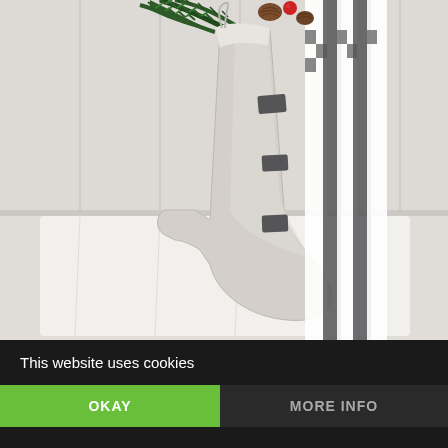[Figure (photo): A Christmas stocking made of light cream/white linen fabric with dark grey/charcoal accent patches, stuffed with green pine branches and pinecones at the top. The stocking hangs against a white paneled wall background with white fabric/cushions visible. A black and white buffalo check ribbon/bow is at the top of the stocking.]
This website uses cookies
OKAY
MORE INFO